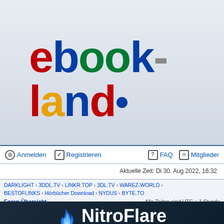[Figure (logo): ebook-land website logo in multicolor Google-style lettering with a blue dot]
Anmelden   Registrieren   FAQ   Mitglieder
Aktuelle Zeit: Di 30. Aug 2022, 16:32
DARKLIGHT · 3DDL.TV · LINKR.TOP · 3DL.TV · WAREZ-WORLD · BESTOFLINKS · Hörbücher Download · NYDUS · BYTE.TO
Foren-Übersicht    Alle Zeiten sind UTC + 1 Stunde
[Figure (logo): NitroFlare Fast Cloud Service banner — dark navy background with blue flame icon and white bold text]
[Figure (logo): HOERBUCH.US music note No1 Audiobook S banner — dark background with white bold text (partially visible)]
[Figure (logo): uScene banner — dark background with red and white logo text (partially visible at bottom)]